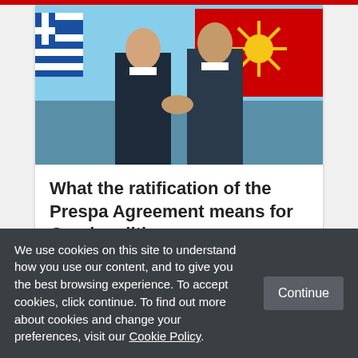[Figure (photo): Two men in suits shaking hands in front of Greek and Macedonian flags outdoors near water]
What the ratification of the Prespa Agreement means for Greek politics
JANUARY 30TH, 2019   7 [...]
We use cookies on this site to understand how you use our content, and to give you the best browsing experience. To accept cookies, click continue. To find out more about cookies and change your preferences, visit our Cookie Policy.